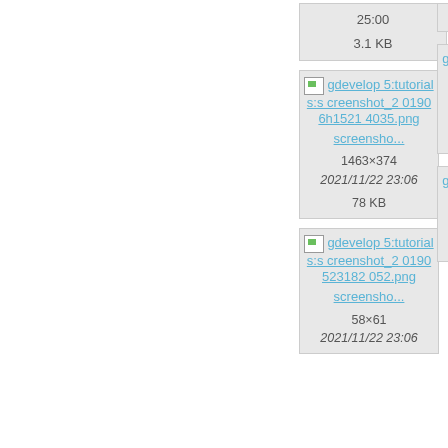[Figure (screenshot): File manager/wiki media listing showing image file cards with filenames, dimensions, dates, and sizes. Top row shows partial cards with '3.1 KB' and '52...' visible. Second row: gdevelop5:tutorials:screenshot_201906h15214035.png (screensho..., 1463×374, 2021/11/22 23:06, 78 KB) and partial card (gd... 5:tuto... creen... 01905... 937... screem..., 1206, 2021/ 23... 242...). Third row: gdevelop5:tutorials:screenshot_20190523182052.png (screensho..., 58×61, 2021/11/22 23:06) and partial card (gd... 5:tuto... creen... 01905... 628... scree..., 54..., 2021/ 23...)]